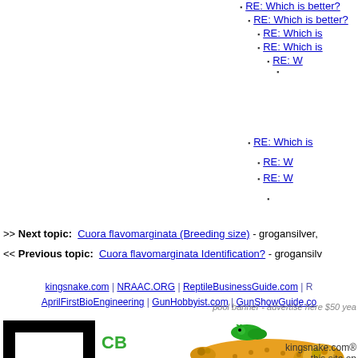RE: Which is better?
RE: Which is better?
RE: Which is
RE: Which is
RE: W
RE: Which is
RE: W
RE: W
>> Next topic: Cuora flavomarginata (Breeding size) - grogansilver,
<< Previous topic: Cuora flavomarginata Identification? - grogansilv
kingsnake.com | NRAAC.ORG | ReptileBusinessGuide.com | R AprilFirstBioEngineering | GunHobbyist.com | GunShowGuide.co
[Figure (logo): Black bordered rectangle with white interior (advertisement placeholder), and CB Reptile.com logo with gecko lizard image]
pool banner - advertise here $50 yea
kingsnake.com® - this site op